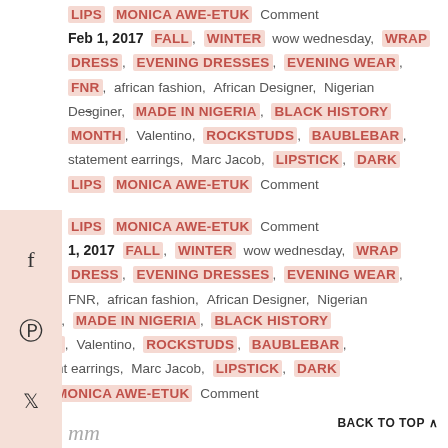LIPS MONICA AWE-ETUK Comment Feb 1, 2017 FALL, WINTER wow wednesday, WRAP DRESS, EVENING DRESSES, EVENING WEAR, FNR, african fashion, African Designer, Nigerian Desginer, MADE IN NIGERIA, BLACK HISTORY MONTH, Valentino, ROCKSTUDS, BAUBLEBAR, statement earrings, Marc Jacob, LIPSTICK, DARK LIPS MONICA AWE-ETUK Comment
Feb 1, 2017 FALL, WINTER wow wednesday, WRAP DRESS, EVENING DRESSES, EVENING WEAR, FNR, african fashion, African Designer, Nigerian Desginer, MADE IN NIGERIA, BLACK HISTORY MONTH, Valentino, ROCKSTUDS, BAUBLEBAR, statement earrings, Marc Jacob, LIPSTICK, DARK LIPS MONICA AWE-ETUK Comment
BACK TO TOP ∧